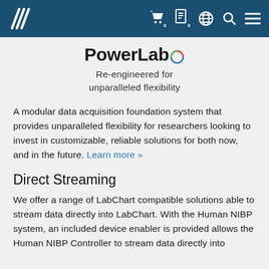PowerLab navigation bar with ADInstruments logo and icons
PowerLab
Re-engineered for unparalleled flexibility
A modular data acquisition foundation system that provides unparalleled flexibility for researchers looking to invest in customizable, reliable solutions for both now, and in the future. Learn more »
Direct Streaming
We offer a range of LabChart compatible solutions able to stream data directly into LabChart. With the Human NIBP system, an included device enabler is provided allows the Human NIBP Controller to stream data directly into